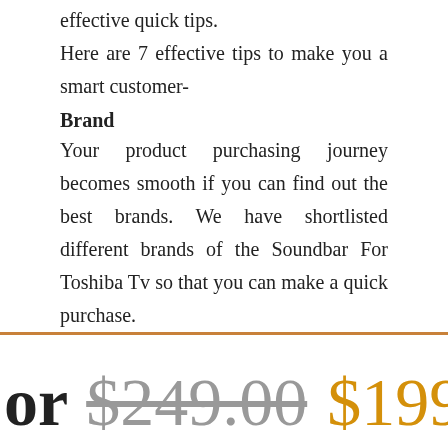effective quick tips.
Here are 7 effective tips to make you a smart customer-
Brand
Your product purchasing journey becomes smooth if you can find out the best brands. We have shortlisted different brands of the Soundbar For Toshiba Tv so that you can make a quick purchase.
or $249.00 $199.0
Ultra-Slim TV Sou